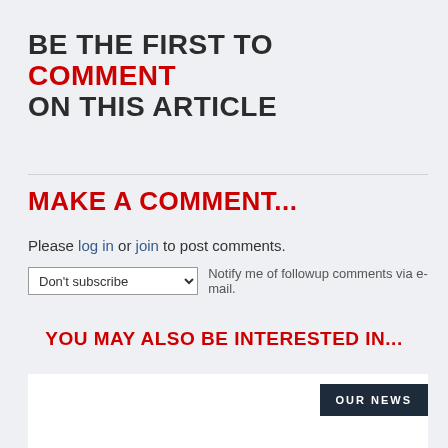BE THE FIRST TO COMMENT ON THIS ARTICLE
MAKE A COMMENT...
Please log in or join to post comments.
Don't subscribe   Notify me of followup comments via e-mail.
YOU MAY ALSO BE INTERESTED IN...
[Figure (other): Card area with OUR NEWS button label on dark background]